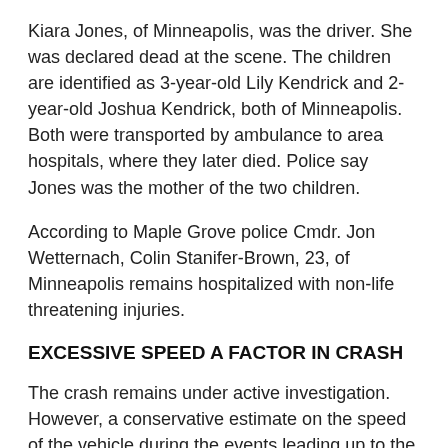Kiara Jones, of Minneapolis, was the driver. She was declared dead at the scene. The children are identified as 3-year-old Lily Kendrick and 2-year-old Joshua Kendrick, both of Minneapolis. Both were transported by ambulance to area hospitals, where they later died. Police say Jones was the mother of the two children.
According to Maple Grove police Cmdr. Jon Wetternach, Colin Stanifer-Brown, 23, of Minneapolis remains hospitalized with non-life threatening injuries.
EXCESSIVE SPEED A FACTOR IN CRASH
The crash remains under active investigation. However, a conservative estimate on the speed of the vehicle during the events leading up to the crash is approximately 80 mph, police said. The speed limit on the stretch of Dunkirk where the